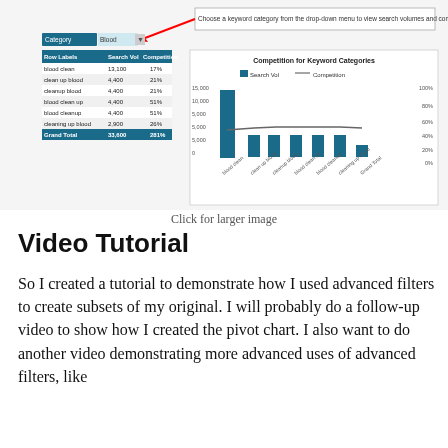[Figure (screenshot): Screenshot of a spreadsheet and pivot chart showing keyword categories, search volume and competition data. The chart is titled 'Competition for Keyword Categories' and shows a bar/line combo chart. A red arrow points to a callout box that says 'Choose a keyword category from the drop-down menu to view search volumes and competition'. The table shows rows including blood clean, clean up blood, cleanup blood, blood clean up, blood cleanup, cleaning up blood, and Grand Total with search volume and competition columns.]
Click for larger image
Video Tutorial
So I created a tutorial to demonstrate how I used advanced filters to create subsets of my original. I will probably do a follow-up video to show how I created the pivot chart. I also want to do another video demonstrating more advanced uses of advanced filters, like creating pivot views from data. That is...